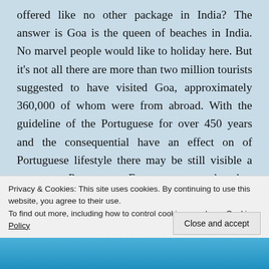offered like no other package in India? The answer is Goa is the queen of beaches in India. No marvel people would like to holiday here. But it's not all there are more than two million tourists suggested to have visited Goa, approximately 360,000 of whom were from abroad. With the guideline of the Portuguese for over 450 years and the consequential have an effect on of Portuguese lifestyle there may be still visible a awesome Portuguese European taste that has permeated all elements of Goa's existence such as its meals, religion, language, festivals, dances and of course
Privacy & Cookies: This site uses cookies. By continuing to use this website, you agree to their use.
To find out more, including how to control cookies, see here: Cookie Policy
Close and accept